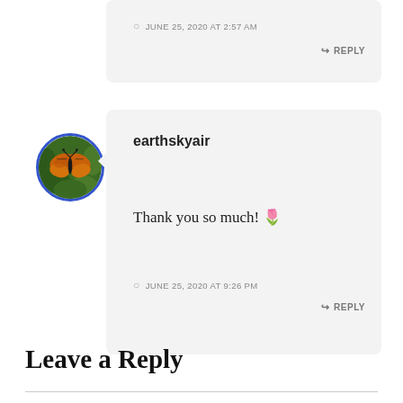JUNE 25, 2020 AT 2:57 AM
↪ REPLY
[Figure (photo): Circular avatar with blue border showing a monarch butterfly on green foliage]
earthskyair
Thank you so much! 🌷
JUNE 25, 2020 AT 9:26 PM
↪ REPLY
Leave a Reply